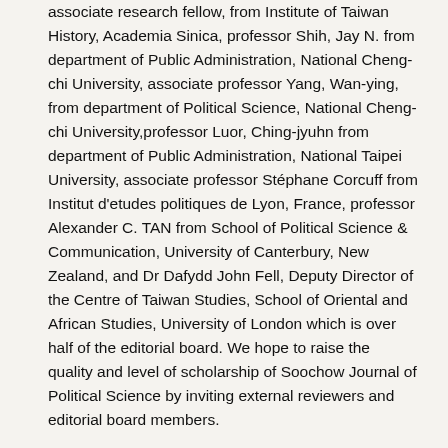associate research fellow, from Institute of Taiwan History, Academia Sinica, professor Shih, Jay N. from department of Public Administration, National Cheng-chi University, associate professor Yang, Wan-ying, from department of Political Science, National Cheng-chi University,professor Luor, Ching-jyuhn from department of Public Administration, National Taipei University, associate professor Stéphane Corcuff from Institut d'etudes politiques de Lyon, France, professor Alexander C. TAN from School of Political Science & Communication, University of Canterbury, New Zealand, and Dr Dafydd John Fell, Deputy Director of the Centre of Taiwan Studies, School of Oriental and African Studies, University of London which is over half of the editorial board. We hope to raise the quality and level of scholarship of Soochow Journal of Political Science by inviting external reviewers and editorial board members.